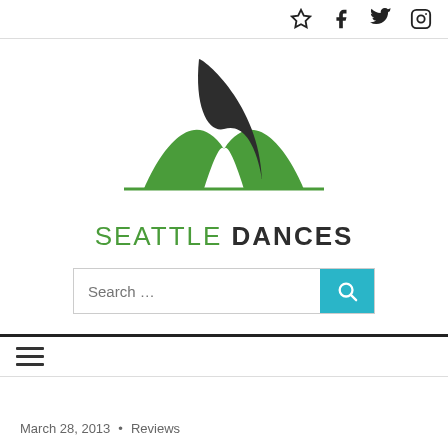Social icons: star, facebook, twitter, instagram
[Figure (logo): Seattle Dances logo: green abstract mountain/wave shape with dark swooping ribbon above, text 'SEATTLE DANCES' below in green and dark gray]
Search ...
March 28, 2013 • Reviews